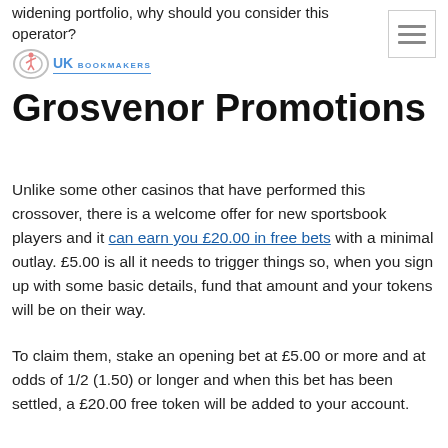widening portfolio, why should you consider this operator?
[Figure (logo): UK Bookmakers logo with circular icon and text]
[Figure (other): Hamburger menu icon with three horizontal lines]
Grosvenor Promotions
Unlike some other casinos that have performed this crossover, there is a welcome offer for new sportsbook players and it can earn you £20.00 in free bets with a minimal outlay. £5.00 is all it needs to trigger things so, when you sign up with some basic details, fund that amount and your tokens will be on their way.
To claim them, stake an opening bet at £5.00 or more and at odds of 1/2 (1.50) or longer and when this bet has been settled, a £20.00 free token will be added to your account.